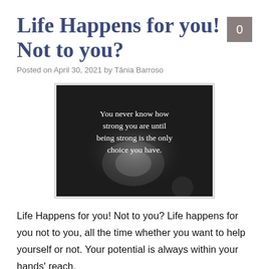Life Happens for you! Not to you?
Posted on April 30, 2021 by Tânia Barroso
[Figure (photo): Dark background with white serif text: 'You never know how strong you are until being strong is the only choice you have.']
Life Happens for you! Not to you? Life happens for you not to you, all the time whether you want to help yourself or not. Your potential is always within your hands' reach.